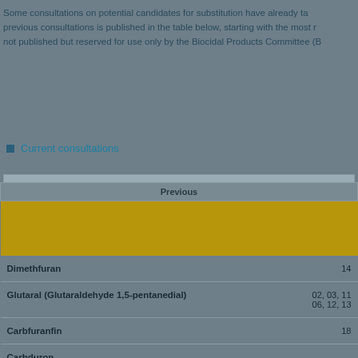Some consultations on potential candidates for substitution have already taken place. A summary of the previous consultations is published in the table below, starting with the most recent one. Information that is not published but reserved for use only by the Biocidal Products Committee (B...
Current consultations
|  | Previous | PT |
| --- | --- | --- |
| Dimethfuran |  | 14 |
| Glutaral (Glutaraldehyde 1,5-pentanedial) |  | 02, 03, 11, 06, 12, 13 |
| Carbfuranfin |  | 18 |
| Carbduron |  |  |